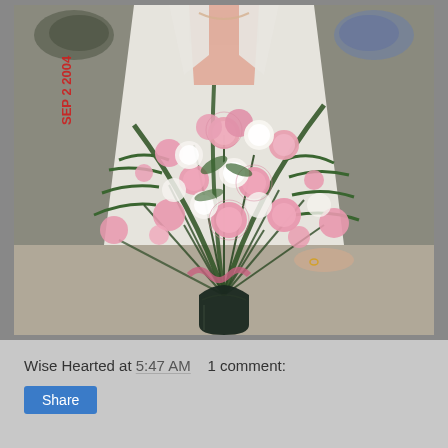[Figure (photo): A woman in a white blazer standing behind a large floral arrangement of pink and white carnations with ferns in a dark glass vase, photographed on Sep 2, 2004. A red date stamp 'SEP 2 2004' is visible on the left side of the photo.]
Wise Hearted at 5:47 AM    1 comment:
Share